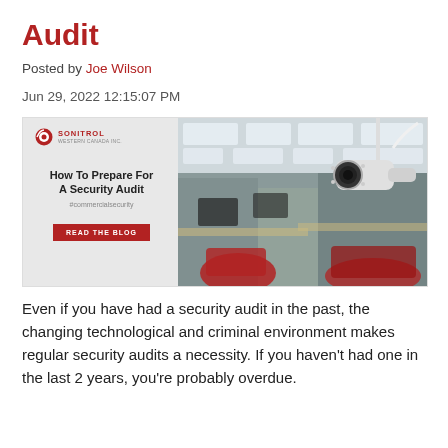Audit
Posted by Joe Wilson
Jun 29, 2022 12:15:07 PM
[Figure (photo): Split image: left side shows Sonitrol promotional card with text 'How To Prepare For A Security Audit #commercialsecurity' and a red 'READ THE BLOG' button; right side shows a CCTV camera mounted in an office environment with blurred red chairs and workstations in background.]
Even if you have had a security audit in the past, the changing technological and criminal environment makes regular security audits a necessity. If you haven't had one in the last 2 years, you're probably overdue.